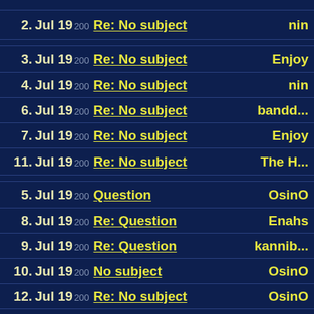2. Jul 19 200 Re: No subject nin
3. Jul 19 200 Re: No subject Enjoy
4. Jul 19 200 Re: No subject nin
6. Jul 19 200 Re: No subject bandd...
7. Jul 19 200 Re: No subject Enjoy
11. Jul 19 200 Re: No subject The H...
5. Jul 19 200 Question OsinO
8. Jul 19 200 Re: Question Enahs
9. Jul 19 200 Re: Question kannib...
10. Jul 19 200 No subject OsinO
12. Jul 19 200 Re: No subject OsinO
15. Jul 19 200 Re: No subject MeatE